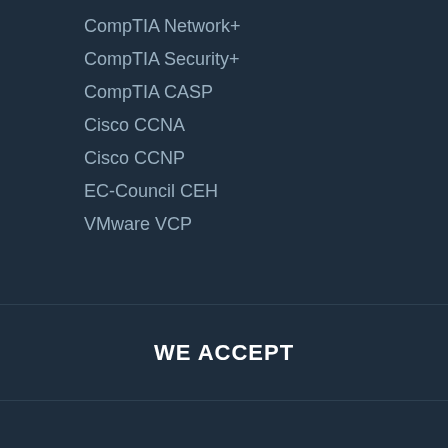CompTIA Network+
CompTIA Security+
CompTIA CASP
Cisco CCNA
Cisco CCNP
EC-Council CEH
VMware VCP
WE ACCEPT
© 2000-2018 Certxpert. All Rights Reserved
PRIVACY POLICY | TERMS OF USE